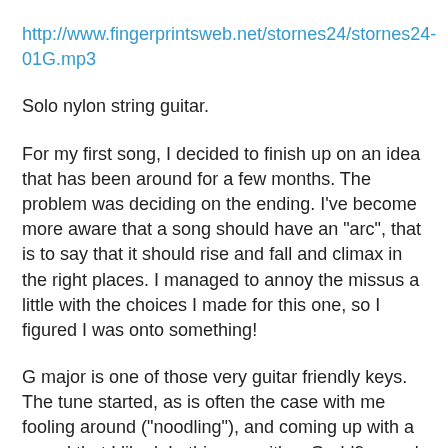http://www.fingerprintsweb.net/stornes24/stornes24-01G.mp3
Solo nylon string guitar.
For my first song, I decided to finish up on an idea that has been around for a few months. The problem was deciding on the ending. I've become more aware that a song should have an "arc", that is to say that it should rise and fall and climax in the right places. I managed to annoy the missus a little with the choices I made for this one, so I figured I was onto something!
G major is one of those very guitar friendly keys. The tune started, as is often the case with me fooling around ("noodling"), and coming up with a sound that I liked. In this case, it's a Gadd9 sound, which I think would have sounded different in any other key, although you could transpose it quite easily. It's got a rather fat yet bright sound, due to the root note being on the 6th string, and lots of open strings avilable for the chords.